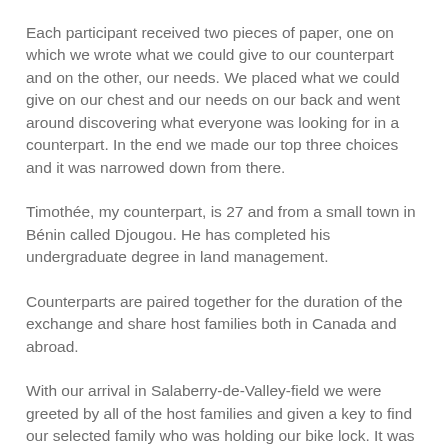Each participant received two pieces of paper, one on which we wrote what we could give to our counterpart and on the other, our needs. We placed what we could give on our chest and our needs on our back and went around discovering what everyone was looking for in a counterpart. In the end we made our top three choices and it was narrowed down from there.
Timothée, my counterpart, is 27 and from a small town in Bénin called Djougou. He has completed his undergraduate degree in land management.
Counterparts are paired together for the duration of the exchange and share host families both in Canada and abroad.
With our arrival in Salaberry-de-Valley-field we were greeted by all of the host families and given a key to find our selected family who was holding our bike lock. It was interesting walking around the circle, speaking to all the families and not knowing which lock our key would open.